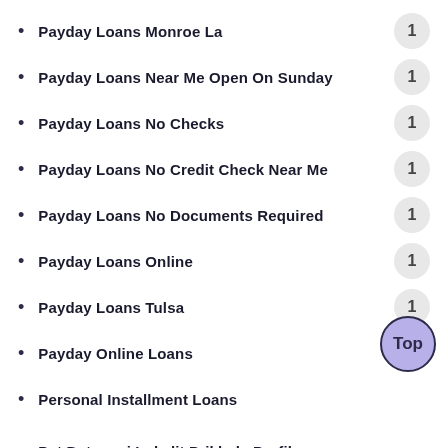Payday Loans Monroe La
Payday Loans Near Me Open On Sunday
Payday Loans No Checks
Payday Loans No Credit Check Near Me
Payday Loans No Documents Required
Payday Loans Online
Payday Loans Tulsa
Payday Online Loans
Personal Installment Loans
Pet Datovani Lokalit Priklady Profilu